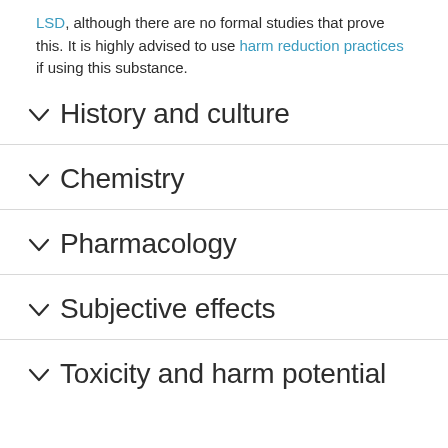LSD, although there are no formal studies that prove this. It is highly advised to use harm reduction practices if using this substance.
History and culture
Chemistry
Pharmacology
Subjective effects
Toxicity and harm potential